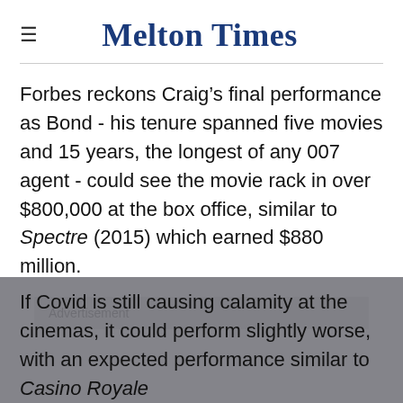Melton Times
Forbes reckons Craig's final performance as Bond - his tenure spanned five movies and 15 years, the longest of any 007 agent - could see the movie rack in over $800,000 at the box office, similar to Spectre (2015) which earned $880 million.
Advertisement
If Covid is still causing calamity at the cinemas, it could perform slightly worse, with an expected performance similar to Casino Royale